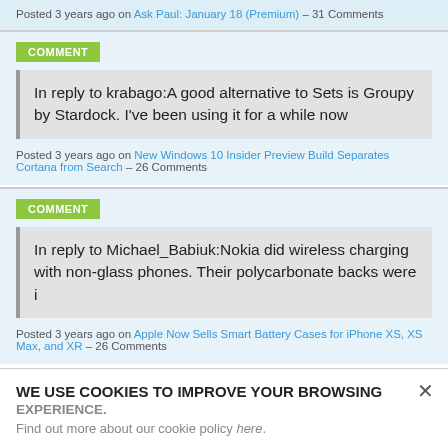Posted 3 years ago on Ask Paul: January 18 (Premium) – 31 Comments
COMMENT
In reply to krabago:A good alternative to Sets is Groupy by Stardock. I've been using it for a while now
Posted 3 years ago on New Windows 10 Insider Preview Build Separates Cortana from Search – 26 Comments
COMMENT
In reply to Michael_Babiuk:Nokia did wireless charging with non-glass phones. Their polycarbonate backs were i
Posted 3 years ago on Apple Now Sells Smart Battery Cases for iPhone XS, XS Max, and XR – 26 Comments
WE USE COOKIES TO IMPROVE YOUR BROWSING EXPERIENCE. Find out more about our cookie policy here.